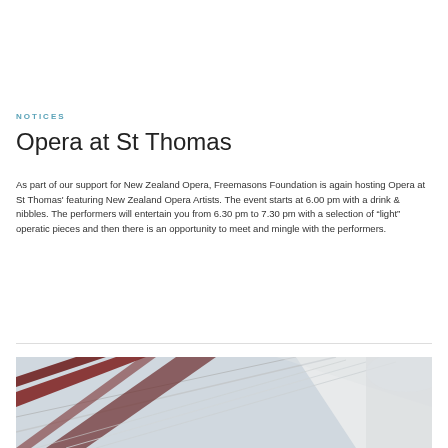NOTICES
Opera at St Thomas
As part of our support for New Zealand Opera, Freemasons Foundation is again hosting Opera at St Thomas' featuring New Zealand Opera Artists. The event starts at 6.00 pm with a drink & nibbles. The performers will entertain you from 6.30 pm to 7.30 pm with a selection of “light” operatic pieces and then there is an opportunity to meet and mingle with the performers.
[Figure (photo): Interior photo of St Thomas church showing diagonal ceiling beams/rafters in white and dark red/maroon colors against a light background]